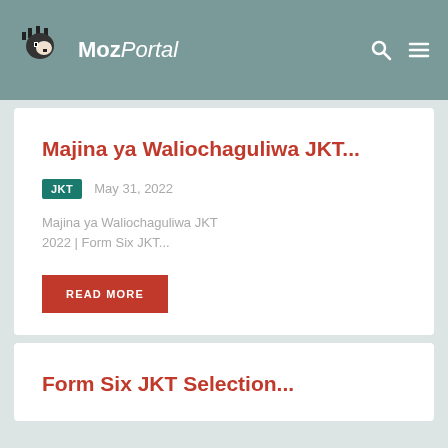MozPortal
Majina ya Waliochaguliwa JKT...
JKT   May 31, 2022
Majina ya Waliochaguliwa JKT 2022 | Form Six JKT...
READ MORE
Form Six JKT Selection...